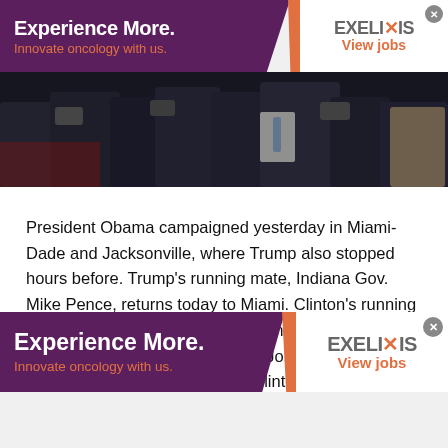[Figure (screenshot): Top advertisement banner for Exelixis with purple background on left reading 'Experience More. Innovate oncology with us.' and Exelixis logo with 'View jobs' on white right panel]
[Figure (photo): Photo of a crowd scene at a political event, people with cameras in dark environment]
President Obama campaigned yesterday in Miami-Dade and Jacksonville, where Trump also stopped hours before. Trump's running mate, Indiana Gov. Mike Pence, returns today to Miami. Clinton's running mate, Virginia Sen. Tim Kaine, campaigns in Melbourne and then joins rocker Jon Bon Jovi in St. Petersburg on Saturday, when Clinton return
[Figure (screenshot): Bottom advertisement banner for Exelixis with purple background on left reading 'Experience More. Innovate oncology with us.' and Exelixis logo with 'View jobs' on white right panel]